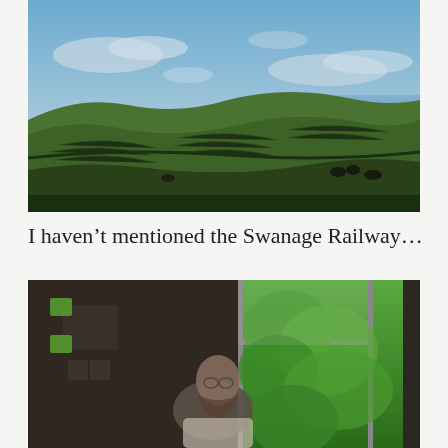[Figure (photo): Landscape photograph showing rolling green hills and farmland with crops/hedgerows under a partly cloudy blue sky, with what appears to be sea in the distance on the right side.]
I haven’t mentioned the Swanage Railway…
[Figure (photo): Interior photo taken on a train, showing a man sitting by the window with his reflection visible in the glass. Outside the window, lush green trees are visible. The scene suggests a heritage railway journey.]